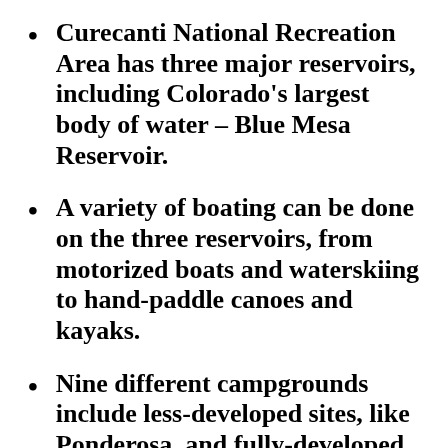Curecanti National Recreation Area has three major reservoirs, including Colorado's largest body of water – Blue Mesa Reservoir.
A variety of boating can be done on the three reservoirs, from motorized boats and waterskiing to hand-paddle canoes and kayaks.
Nine different campgrounds include less-developed sites, like Ponderosa, and fully-developed sites with RV hookups, like Elk Creek, as well as boat-in campsites for overnight water adventures.